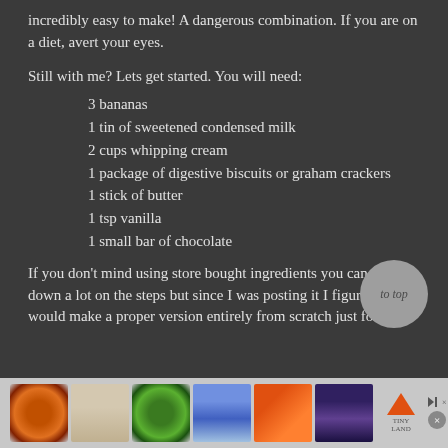incredibly easy to make! A dangerous combination. If you are on a diet, avert your eyes.
Still with me? Lets get started. You will need:
3 bananas
1 tin of sweetened condensed milk
2 cups whipping cream
1 package of digestive biscuits or graham crackers
1 stick of butter
1 tsp vanilla
1 small bar of chocolate
If you don't mind using store bought ingredients you can cut down a lot on the steps but since I was posting it I figured I would make a proper version entirely from scratch just for you.
[Figure (other): Advertisement banner with thumbnail images of seasonal/holiday items and a logo]